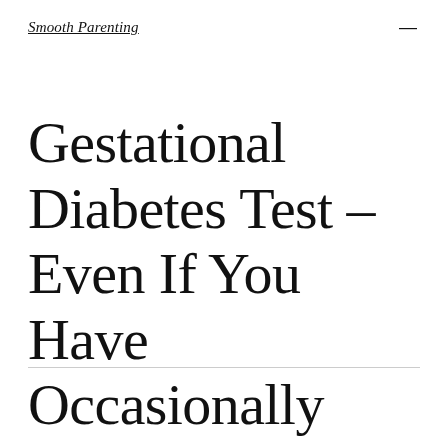Smooth Parenting
Gestational Diabetes Test – Even If You Have Occasionally High Numbers